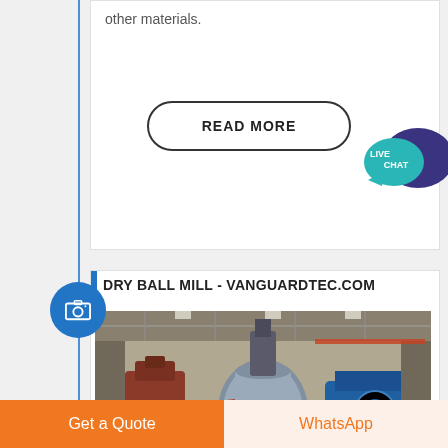other materials.
READ MORE
[Figure (other): Live Chat speech bubble icon with camera icon on blue circle]
DRY BALL MILL - VANGUARDTEC.COM
[Figure (photo): Industrial factory interior showing large metal machinery including a cylindrical mill and other heavy equipment in a warehouse with overhead lighting]
Get a Quote
WhatsApp